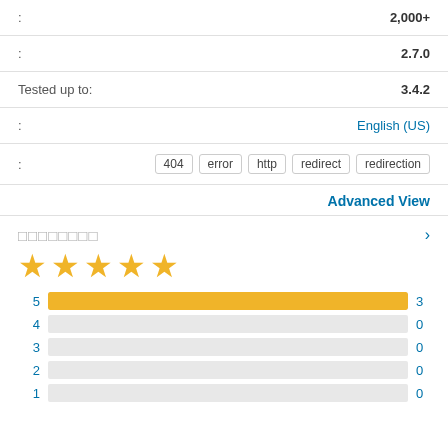| Label | Value |
| --- | --- |
| : | 2,000+ |
| : | 2.7.0 |
| Tested up to: | 3.4.2 |
| : | English (US) |
| : | 404  error  http  redirect  redirection |
Advanced View
□□□□□□□□
[Figure (bar-chart): Ratings]